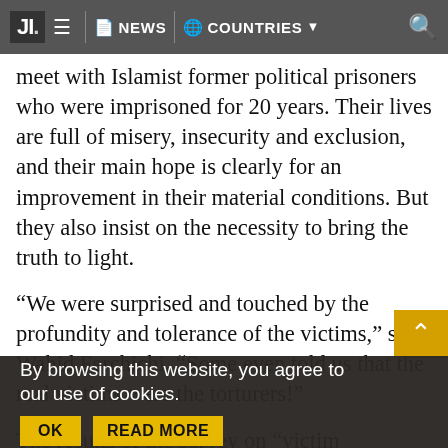JI. NEWS COUNTRIES
meet with Islamist former political prisoners who were imprisoned for 20 years. Their lives are full of misery, insecurity and exclusion, and their main hope is clearly for an improvement in their material conditions. But they also insist on the necessity to bring the truth to light.
“We were surprised and touched by the profundity and tolerance of the victims,” says Wahid Ferchichi. “Some even told us that the real victims were the torturers!”
The results of the survey on “victim participation in the transitional justice process” will be ma… publi… Septe…
By browsing this website, you agree to our use of cookies.